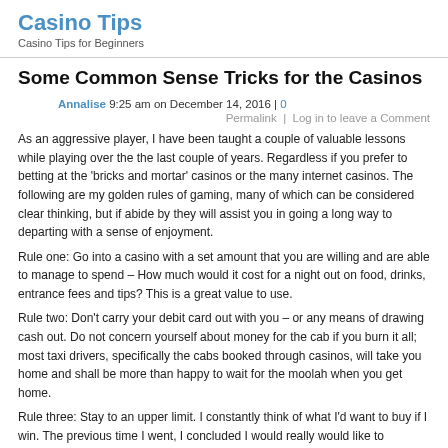Casino Tips
Casino Tips for Beginners
Some Common Sense Tricks for the Casinos
Annalise 9:25 am on December 14, 2016 | 0
Permalink  |  Log in to leave a Comment
As an aggressive player, I have been taught a couple of valuable lessons while playing over the the last couple of years. Regardless if you prefer to betting at the 'bricks and mortar' casinos or the many internet casinos. The following are my golden rules of gaming, many of which can be considered clear thinking, but if abide by they will assist you in going a long way to departing with a sense of enjoyment.
Rule one: Go into a casino with a set amount that you are willing and are able to manage to spend – How much would it cost for a night out on food, drinks, entrance fees and tips? This is a great value to use.
Rule two: Don't carry your debit card out with you – or any means of drawing cash out. Do not concern yourself about money for the cab if you burn it all; most taxi drivers, specifically the cabs booked through casinos, will take you home and shall be more than happy to wait for the moolah when you get home.
Rule three: Stay to an upper limit. I constantly think of what I'd want to buy if I win. The previous time I went, I concluded I would really would like to